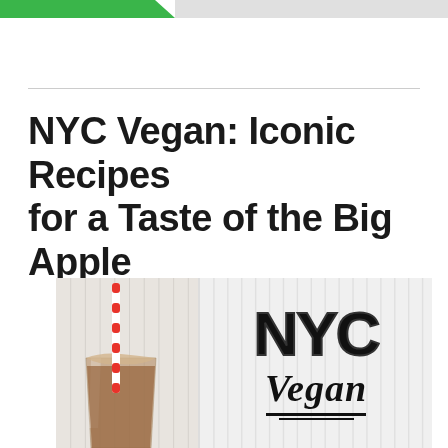NYC Vegan: Iconic Recipes for a Taste of the Big Apple
[Figure (photo): Book cover image showing a chocolate milkshake with a red and white striped straw on the left, and bold 'NYC Vegan' typography on the right against a light paneled background]